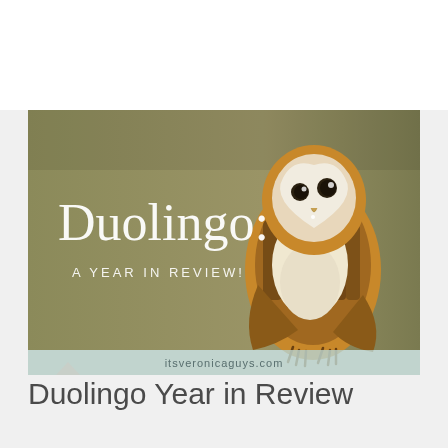[Figure (illustration): Duolingo Year in Review banner image featuring a barn owl perched against an olive/khaki background, with the text 'Duolingo:' in large white serif font, 'A YEAR IN REVIEW!' in smaller white spaced caps below, and 'itsveronicaguys.com' in a light teal banner strip at the bottom of the image.]
Duolingo Year in Review